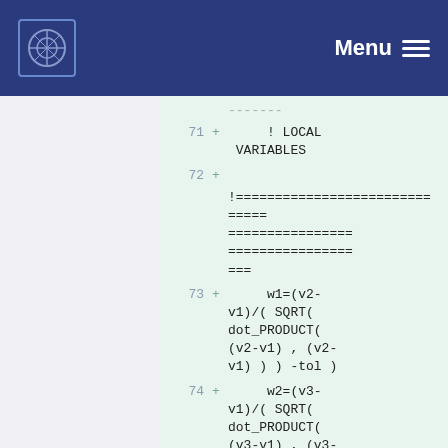Menu
-------
71  +     ! LOCAL VARIABLES
72  +
     !=======================================
73  +     w1=(v2-v1)/( SQRT( dot_PRODUCT( (v2-v1) , (v2-v1) ) ) -tol )
74  +     w2=(v3-v1)/( SQRT( dot_PRODUCT( (v3-v1) , (v3-v1) ) ) -tol )
75  +     Cross= w1(1) * w2(2)